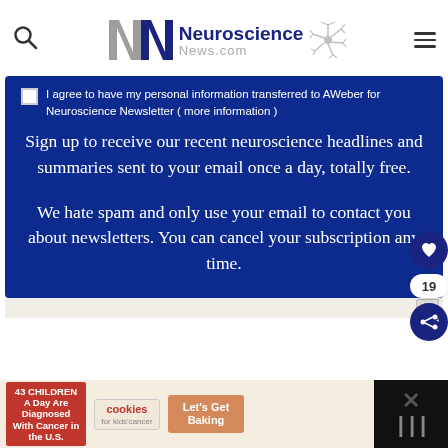[Figure (logo): Neuroscience News.com logo with NN letters and neuron graphic]
I agree to have my personal information transferred to AWeber for Neuroscience Newsletter ( more information )
Sign up to receive our recent neuroscience headlines and summaries sent to your email once a day, totally free.
We hate spam and only use your email to contact you about newsletters. You can cancel your subscription any time.
[Figure (screenshot): Advertisement banner: 43 CHILDREN A Day Are Diagnosed With Cancer in the U.S. - cookies for kids cancer - Let's Get Baking]
[Figure (screenshot): Dark advertisement area with close button on the right side]